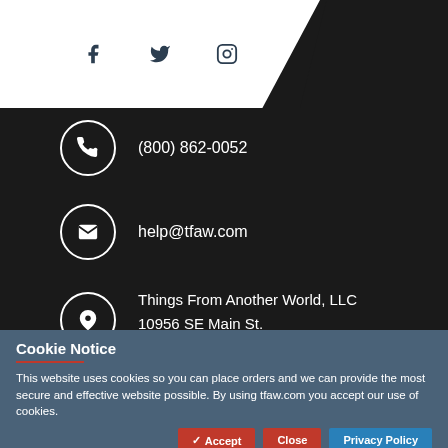[Figure (infographic): Social media icons (Facebook, Twitter, Instagram) on white chevron/diagonal banner at top]
(800) 862-0052
help@tfaw.com
Things From Another World, LLC
10956 SE Main St.
Milwaukie, OR 97222
Cookie Notice
This website uses cookies so you can place orders and we can provide the most secure and effective website possible. By using tfaw.com you accept our use of cookies.